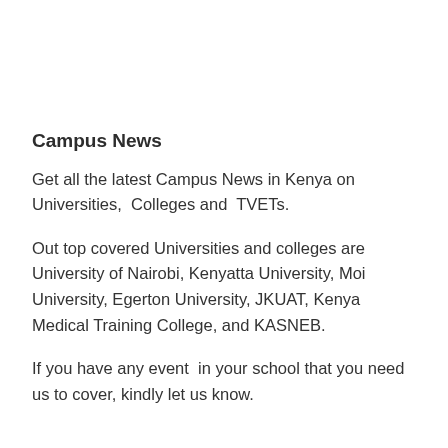Campus News
Get all the latest Campus News in Kenya on Universities,  Colleges and  TVETs.
Out top covered Universities and colleges are University of Nairobi, Kenyatta University, Moi University, Egerton University, JKUAT, Kenya Medical Training College, and KASNEB.
If you have any event  in your school that you need us to cover, kindly let us know.